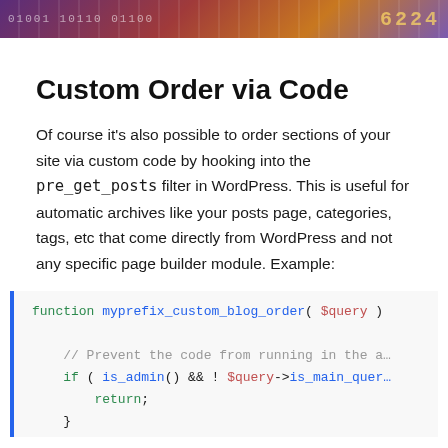[Figure (screenshot): Banner image with colorful gradient background containing code-like numbers and text]
Custom Order via Code
Of course it's also possible to order sections of your site via custom code by hooking into the pre_get_posts filter in WordPress. This is useful for automatic archives like your posts page, categories, tags, etc that come directly from WordPress and not any specific page builder module. Example:
[Figure (screenshot): Code block showing PHP function myprefix_custom_blog_order( $query ) with a comment '// Prevent the code from running in the admin' and if ( is_admin() && ! $query->is_main_query then return; and closing brace]